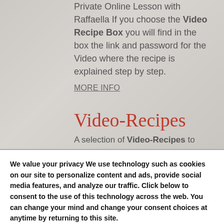Private Online Lesson with Raffaella If you choose the Video Recipe Box you will find in the box the link and password for the Video where the recipe is explained step by step.
MORE INFO
Video-Recipes
A selection of Video-Recipes to prepare
We value your privacy We use technology such as cookies on our site to personalize content and ads, provide social media features, and analyze our traffic. Click below to consent to the use of this technology across the web. You can change your mind and change your consent choices at anytime by returning to this site.
Accept